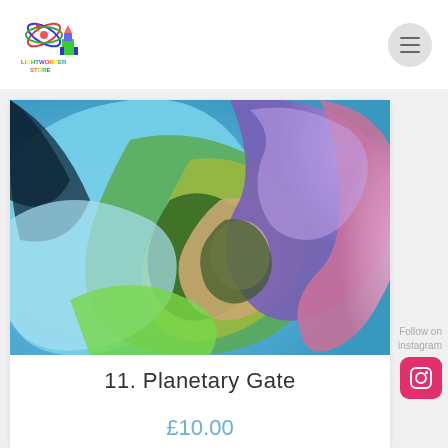[Figure (logo): Lightworker Store colorful logo with atom and building blocks icons, rainbow text]
[Figure (photo): Close-up photograph of a rainbow-colored rose with cyan, green, yellow, purple, blue, and pink petals swirling inward]
Follow on instagram
11. Planetary Gate
£10.00